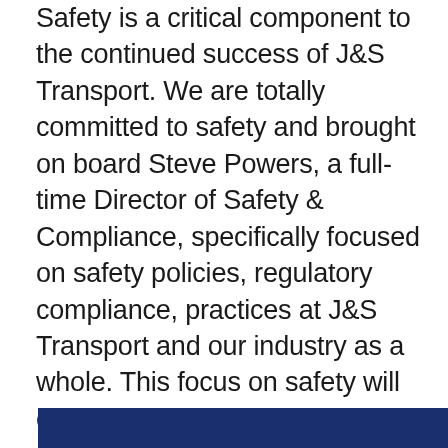Safety is a critical component to the continued success of J&S Transport. We are totally committed to safety and brought on board Steve Powers, a full-time Director of Safety & Compliance, specifically focused on safety policies, regulatory compliance, practices at J&S Transport and our industry as a whole. This focus on safety will ensure we are compliant with Federal, State and local regulations as well as implementing the best available practices and policies. Steve is an accredited Certified Director of Safety (CDS) with experience and knowledge gained through many years in the transportation industry.
[Figure (photo): Dark navy blue bar/banner at the bottom of the page, partially visible, suggesting a photo or graphic element below]